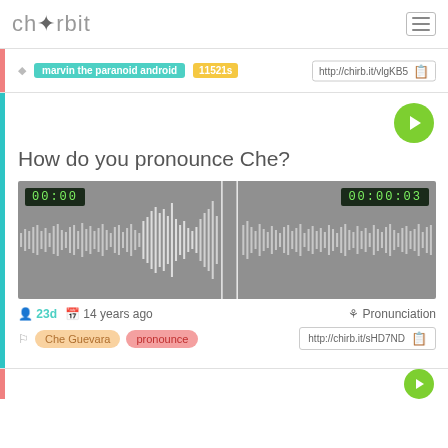chirbit
marvin the paranoid android  11521s  http://chirb.it/vlgKB5
How do you pronounce Che?
[Figure (other): Audio waveform player showing 00:00 on left and 00:00:03 on right, grey background with white waveform visualization]
23d  14 years ago  Pronunciation
Che Guevara  pronounce  http://chirb.it/sHD7ND